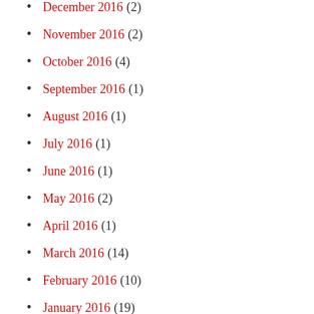December 2016 (2)
November 2016 (2)
October 2016 (4)
September 2016 (1)
August 2016 (1)
July 2016 (1)
June 2016 (1)
May 2016 (2)
April 2016 (1)
March 2016 (14)
February 2016 (10)
January 2016 (19)
December 2015 (3)
November 2015 (5)
October 2015 (10)
September 2015 (9)
August 2015 (16)